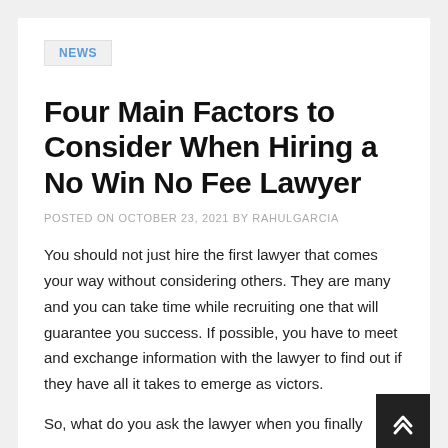NEWS
Four Main Factors to Consider When Hiring a No Win No Fee Lawyer
POSTED ON OCTOBER 23, 2021 BY RAHULGARCIA
You should not just hire the first lawyer that comes your way without considering others. They are many and you can take time while recruiting one that will guarantee you success. If possible, you have to meet and exchange information with the lawyer to find out if they have all it takes to emerge as victors.
So, what do you ask the lawyer when you finally